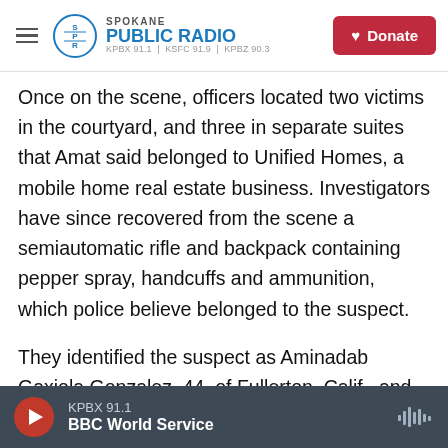Spokane Public Radio — KPBX 91.1 | KSFC 91.9 | KPBZ 90.3 — Donate
Once on the scene, officers located two victims in the courtyard, and three in separate suites that Amat said belonged to Unified Homes, a mobile home real estate business. Investigators have since recovered from the scene a semiautomatic rifle and backpack containing pepper spray, handcuffs and ammunition, which police believe belonged to the suspect.
They identified the suspect as Aminadab Gaxiola Gonzalez, 44, of Fullerton, Calif., and reiterated that the motive is believed to be related to a "business and personal relationship that existed between the
KPBX 91.1 — BBC World Service